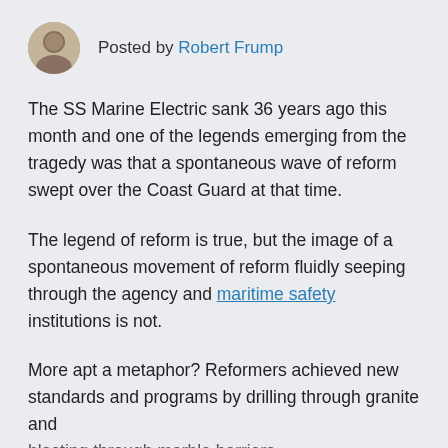Posted by Robert Frump
The SS Marine Electric sank 36 years ago this month and one of the legends emerging from the tragedy was that a spontaneous wave of reform swept over the Coast Guard at that time.
The legend of reform is true, but the image of a spontaneous movement of reform fluidly seeping through the agency and maritime safety institutions is not.
More apt a metaphor? Reformers achieved new standards and programs by drilling through granite and blasting through marble barriers.